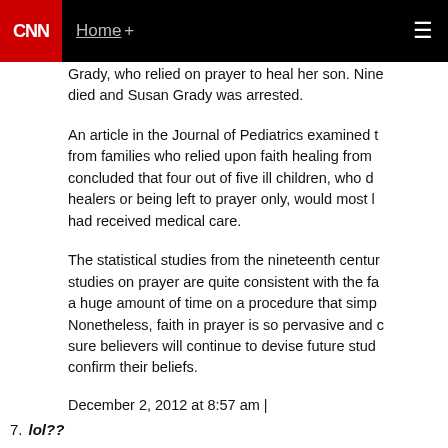CNN | Home +
Grady, who relied on prayer to heal her son. Nine... died and Susan Grady was arrested.
An article in the Journal of Pediatrics examined t... from families who relied upon faith healing from ... concluded that four out of five ill children, who d... healers or being left to prayer only, would most l... had received medical care.
The statistical studies from the nineteenth centur... studies on prayer are quite consistent with the fa... a huge amount of time on a procedure that simp... Nonetheless, faith in prayer is so pervasive and c... sure believers will continue to devise future stud... confirm their beliefs.
December 2, 2012 at 8:57 am |
7. lol??
"1Ti 2:12 But I suffer not a woman to teach, nor to usi...